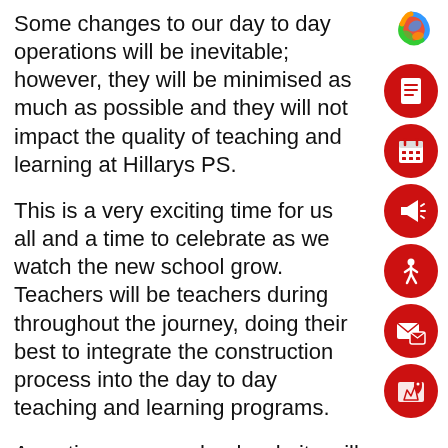Some changes to our day to day operations will be inevitable; however, they will be minimised as much as possible and they will not impact the quality of teaching and learning at Hillarys PS.
This is a very exciting time for us all and a time to celebrate as we watch the new school grow.  Teachers will be teachers during throughout the journey, doing their best to integrate the construction process into the day to day teaching and learning programs.
A section on our school website will be allocated to keeping parents and interested community members up-to-date with the project's progress.  This will of course include
[Figure (logo): Colourful swirl logo (school or organization logo) in top right area]
[Figure (infographic): Red circle icon with white document/lines symbol]
[Figure (infographic): Red circle icon with white calendar/grid symbol]
[Figure (infographic): Red circle icon with white megaphone/announcement symbol]
[Figure (infographic): Red circle icon with white walking person symbol]
[Figure (infographic): Red circle icon with white mail/envelope symbol]
[Figure (infographic): Red circle icon with white map/location symbol]